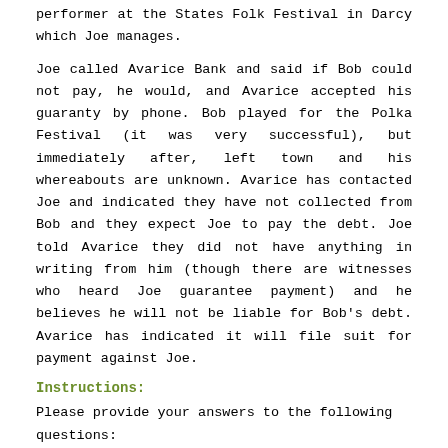performer at the States Folk Festival in Darcy which Joe manages.
Joe called Avarice Bank and said if Bob could not pay, he would, and Avarice accepted his guaranty by phone. Bob played for the Polka Festival (it was very successful), but immediately after, left town and his whereabouts are unknown. Avarice has contacted Joe and indicated they have not collected from Bob and they expect Joe to pay the debt. Joe told Avarice they did not have anything in writing from him (though there are witnesses who heard Joe guarantee payment) and he believes he will not be liable for Bob's debt. Avarice has indicated it will file suit for payment against Joe.
Instructions:
Please provide your answers to the following questions:
1. Issue: What is the legal issue/dispute? (Be specific.